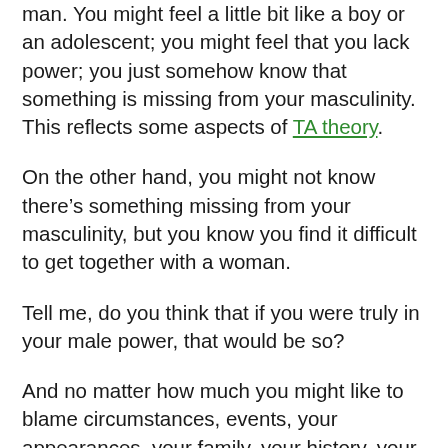man. You might feel a little bit like a boy or an adolescent; you might feel that you lack power; you just somehow know that something is missing from your masculinity. This reflects some aspects of TA theory.
On the other hand, you might not know there's something missing from your masculinity, but you know you find it difficult to get together with a woman.
Tell me, do you think that if you were truly in your male power, that would be so?
And no matter how much you might like to blame circumstances, events, your appearances, your family, your history, your misfortunes … whatever it